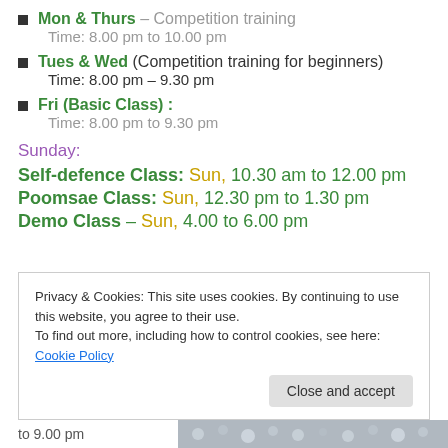Mon & Thurs – Competition training
Time: 8.00 pm to 10.00 pm
Tues & Wed (Competition training for beginners)
Time: 8.00 pm – 9.30 pm
Fri (Basic Class) :
Time: 8.00 pm to 9.30 pm
Sunday:
Self-defence Class: Sun, 10.30 am to 12.00 pm
Poomsae Class: Sun, 12.30 pm to 1.30 pm
Demo Class – Sun, 4.00 to 6.00 pm
Privacy & Cookies: This site uses cookies. By continuing to use this website, you agree to their use.
To find out more, including how to control cookies, see here: Cookie Policy
to 9.00 pm